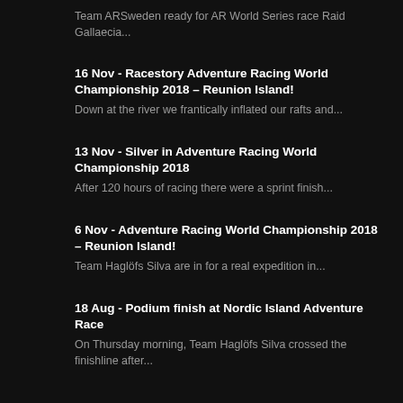Team ARSweden ready for AR World Series race Raid Gallaecia...
16 Nov - Racestory Adventure Racing World Championship 2018 – Reunion Island!
Down at the river we frantically inflated our rafts and...
13 Nov - Silver in Adventure Racing World Championship 2018
After 120 hours of racing there were a sprint finish...
6 Nov - Adventure Racing World Championship 2018 – Reunion Island!
Team Haglöfs Silva are in for a real expedition in...
18 Aug - Podium finish at Nordic Island Adventure Race
On Thursday morning, Team Haglöfs Silva crossed the finishline after...